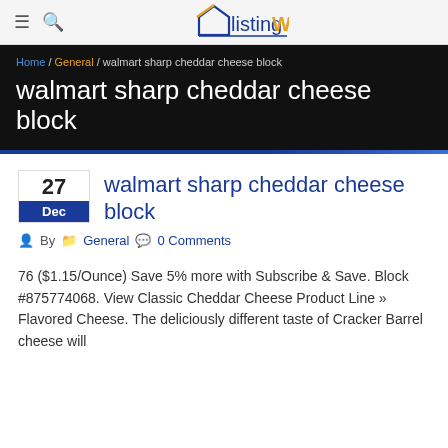ListingWare — navigation header with menu and search icons
walmart sharp cheddar cheese block
walmart sharp cheddar cheese block
By  General  0 Comments
76 ($1.15/Ounce) Save 5% more with Subscribe & Save. Block #875774068. View Classic Cheddar Cheese Product Line » Flavored Cheese. The deliciously different taste of Cracker Barrel cheese will